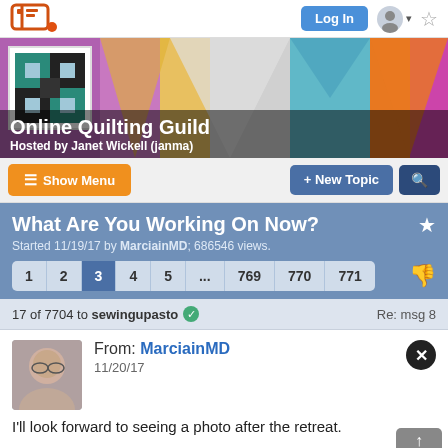[Figure (screenshot): Website navigation bar with chat icon logo, Log In button, user avatar, and star/bookmark icon]
[Figure (photo): Online Quilting Guild banner with colorful quilt pattern background, guild logo (quilt block), title 'Online Quilting Guild', subtitle 'Hosted by Janet Wickell (janma)']
[Figure (screenshot): Action bar with orange Show Menu button, blue + New Topic button, and dark blue search button]
[Figure (screenshot): Topic header showing 'What Are You Working On Now?' with pagination 1 2 3 4 5 ... 769 770 771]
17 of 7704 to sewingupasto  Re: msg 8
From: MarciainMD
11/20/17
I'll look forward to seeing a photo after the retreat.